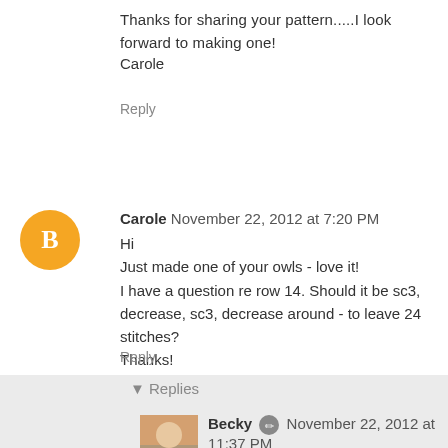Thanks for sharing your pattern.....I look forward to making one!
Carole
Reply
Carole  November 22, 2012 at 7:20 PM
Hi
Just made one of your owls - love it!
I have a question re row 14. Should it be sc3, decrease, sc3, decrease around - to leave 24 stitches?
Thanks!
Reply
▾ Replies
Becky  November 22, 2012 at 11:37 PM
Hi Carole
You are just going to do one decrease in the row. I have tried it both ways with either no decreases